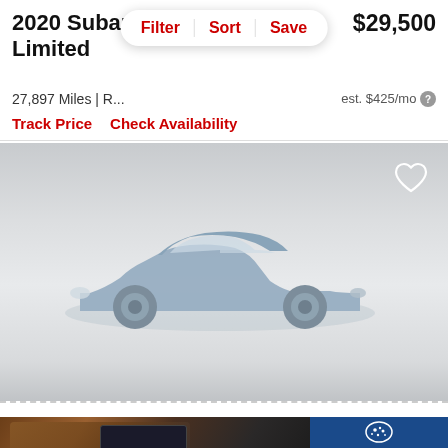2020 Subaru Legacy Limited
$29,500
Filter | Sort | Save
27,897 Miles | R...   est. $425/mo
Track Price   Check Availability
[Figure (illustration): Placeholder silhouette of a sedan car in light blue-gray on a gray gradient background, with a heart/favorite icon in the top right corner.]
[Figure (photo): Advertisement banner for the 2022 Subaru Legacy showing interior dashboard with a touchscreen. Caption reads 'The 2022 Subaru Legacy...' with a Disclaimer label. Right side shows Subaru logo and Explore button on blue background.]